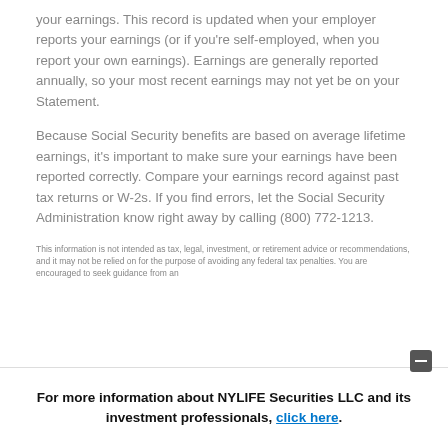your earnings. This record is updated when your employer reports your earnings (or if you're self-employed, when you report your own earnings). Earnings are generally reported annually, so your most recent earnings may not yet be on your Statement.
Because Social Security benefits are based on average lifetime earnings, it's important to make sure your earnings have been reported correctly. Compare your earnings record against past tax returns or W-2s. If you find errors, let the Social Security Administration know right away by calling (800) 772-1213.
This information is not intended as tax, legal, investment, or retirement advice or recommendations, and it may not be relied on for the purpose of avoiding any federal tax penalties. You are encouraged to seek guidance from an
For more information about NYLIFE Securities LLC and its investment professionals, click here.